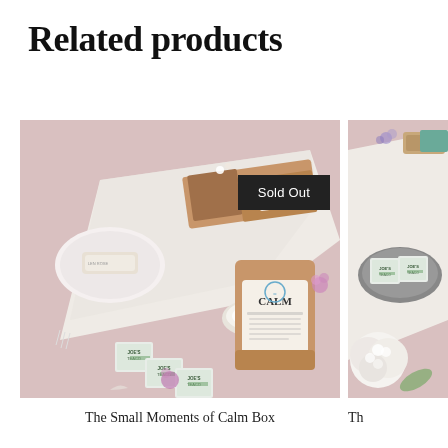Related products
[Figure (photo): Flat lay product photo showing Joe's Tea Co. tea boxes, a kraft paper pouch labeled CALM, a white candle, a soap bar on a dish, dried flowers, and a gift box with 'Sold Out' badge overlay, on pink and white linen background.]
Sold Out
The Small Moments of Calm Box
[Figure (photo): Partial product photo showing Joe's Tea Co. tea boxes on a grey plate, a white hydrangea flower, dried lavender, a wooden soap holder, and other wellness items on white linen background.]
Th